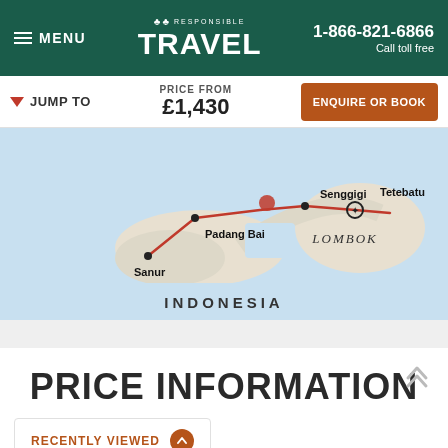MENU | RESPONSIBLE TRAVEL | 1-866-821-6866 Call toll free
JUMP TO | PRICE FROM £1,430 | ENQUIRE OR BOOK
[Figure (map): Map of Indonesia showing travel route through Sanur, Padang Bai, Senggigi, Tetebatu on Lombok island, with red route lines connecting the locations.]
PRICE INFORMATION
RECENTLY VIEWED